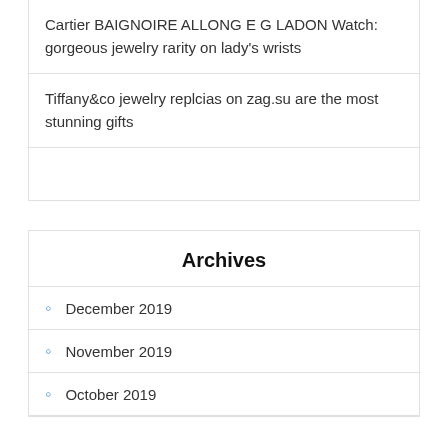Cartier BAIGNOIRE ALLONG E G LADON Watch: gorgeous jewelry rarity on lady's wrists
Tiffany&co jewelry replcias on zag.su are the most stunning gifts
Archives
December 2019
November 2019
October 2019